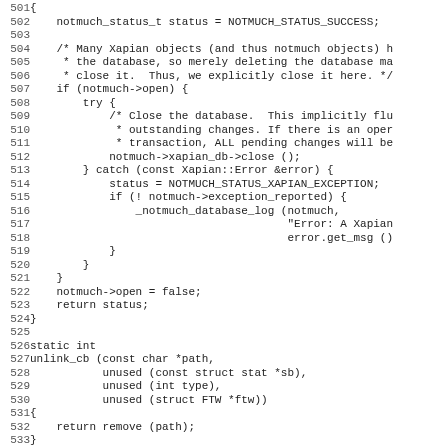Source code listing, lines 501-533, C/C++ code for notmuch database close and unlink_cb function